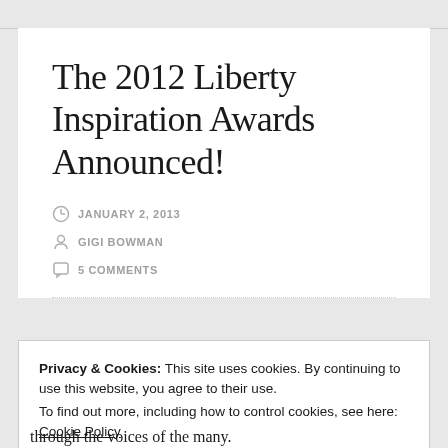The 2012 Liberty Inspiration Awards Announced!
JANUARY 2, 2013
GIGI BOWMAN
5 COMMENTS
Privacy & Cookies: This site uses cookies. By continuing to use this website, you agree to their use.
To find out more, including how to control cookies, see here: Cookie Policy
Close and accept
through the voices of the many.